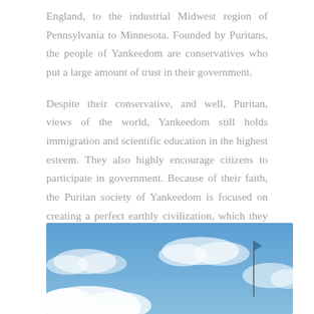England, to the industrial Midwest region of Pennsylvania to Minnesota. Founded by Puritans, the people of Yankeedom are conservatives who put a large amount of trust in their government.
Despite their conservative, and well, Puritan, views of the world, Yankeedom still holds immigration and scientific education in the highest esteem. They also highly encourage citizens to participate in government. Because of their faith, the Puritan society of Yankeedom is focused on creating a perfect earthly civilization, which they accomplish “through social engineering, denial of self for the common good, and assimilation of outsiders,” says Woodard.
[Figure (photo): Blue sky with white clouds and a flag on a flagpole visible in the upper right area of the image.]